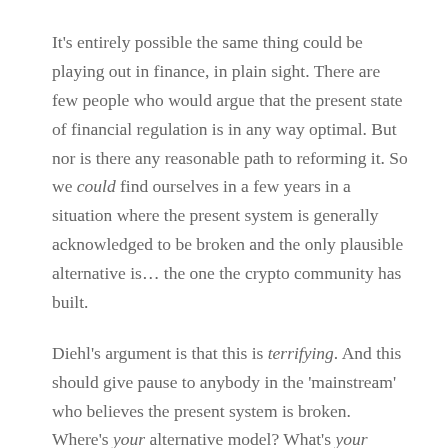It's entirely possible the same thing could be playing out in finance, in plain sight. There are few people who would argue that the present state of financial regulation is in any way optimal. But nor is there any reasonable path to reforming it. So we could find ourselves in a few years in a situation where the present system is generally acknowledged to be broken and the only plausible alternative is… the one the crypto community has built.
Diehl's argument is that this is terrifying. And this should give pause to anybody in the 'mainstream' who believes the present system is broken. Where's your alternative model? What's your proposal for how we transition to it?